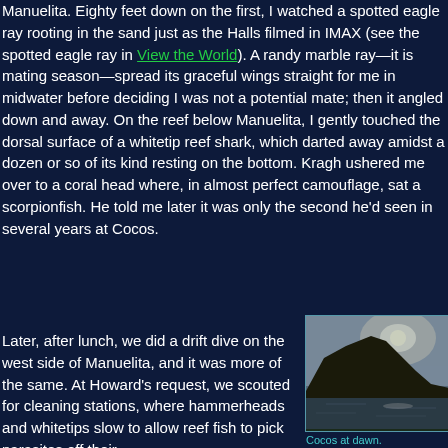Manuelita. Eighty feet down on the first, I watched a spotted eagle ray rooting in the sand just as the Halls filmed in IMAX (see the spotted eagle ray in View the World). A randy marble ray—it is mating season—spread its graceful wings straight for me in midwater before deciding I was not a potential mate; then it angled down and away. On the reef below Manuelita, I gently touched the dorsal surface of a whitetip reef shark, which darted away amidst a dozen or so of its kind resting on the bottom. Kragh ushered me over to a coral head where, in almost perfect camouflage, sat a scorpionfish. He told me later it was only the second he'd seen in several years at Cocos.
Later, after lunch, we did a drift dive on the west side of Manuelita, and it was more of the same. At Howard's request, we scouted for cleaning stations, where hammerheads and whitetips slow to allow reef fish to pick parasites off their bodies. We found...
[Figure (photo): Black and white photograph of Cocos Island silhouette at dawn, showing a dark mountainous island against a bright sky with sun reflection on water]
Cocos at dawn.